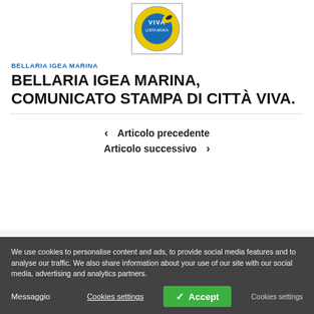[Figure (logo): Circular logo with yellow and blue design, text 'VIVA' and 'LISTA MOKA' visible]
BELLARIA IGEA MARINA
BELLARIA IGEA MARINA, COMUNICATO STAMPA DI CITTÀ VIVA.
Articolo precedente
Articolo successivo
LASCIA UN COMMENTO
We use cookies to personalise content and ads, to provide social media features and to analyse our traffic. We also share information about your use of our site with our social media, advertising and analytics partners.
Messaggio
Cookies settings
Accept
Cookies settings